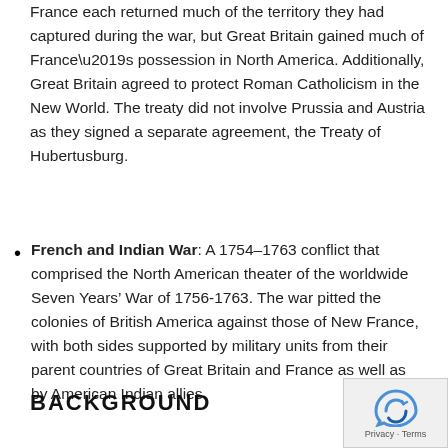France each returned much of the territory they had captured during the war, but Great Britain gained much of France’s possession in North America. Additionally, Great Britain agreed to protect Roman Catholicism in the New World. The treaty did not involve Prussia and Austria as they signed a separate agreement, the Treaty of Hubertusburg.
French and Indian War: A 1754–1763 conflict that comprised the North American theater of the worldwide Seven Years’ War of 1756-1763. The war pitted the colonies of British America against those of New France, with both sides supported by military units from their parent countries of Great Britain and France as well as by American Indian allies.
BACKGROUND